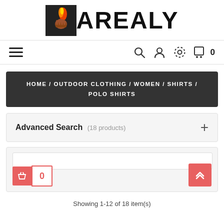[Figure (logo): BAREALY brand logo with flame and hand illustration]
[Figure (infographic): Navigation bar with hamburger menu on left and icons (search, user, settings, cart with 0) on right]
HOME / OUTDOOR CLOTHING / WOMEN / SHIRTS / POLO SHIRTS
Advanced Search (18 products)
Showing 1-12 of 18 item(s)